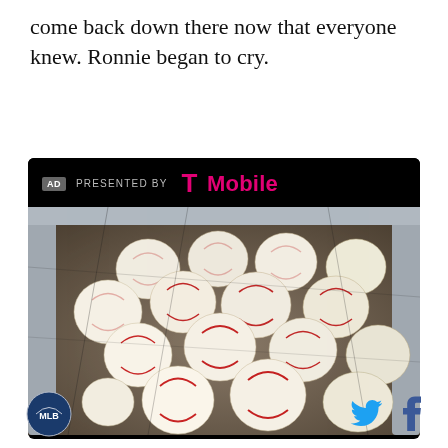come back down there now that everyone knew. Ronnie began to cry.
[Figure (photo): Advertisement banner: 'PRESENTED BY T-Mobile' in black header above a photo of a basket full of white MLB Rawlings baseballs with red stitching, held in a metal batting-practice ball cage.]
Social share icons: Twitter and Facebook. Team logo circle icon on left.